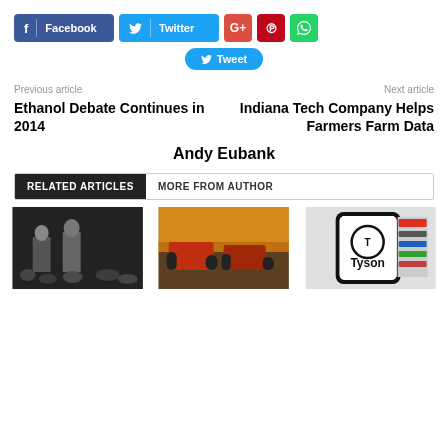[Figure (other): Social media share buttons: Facebook, Twitter, Google+, Pinterest, WhatsApp, and a Tweet button]
Previous article
Next article
Ethanol Debate Continues in 2014
Indiana Tech Company Helps Farmers Farm Data
Andy Eubank
RELATED ARTICLES   MORE FROM AUTHOR
[Figure (photo): Conference or panel event with speakers at podiums and audience seated]
[Figure (photo): Two large tractors in a field at sunset]
[Figure (photo): Tyson brand logo on a smartphone screen with brand logos in background]